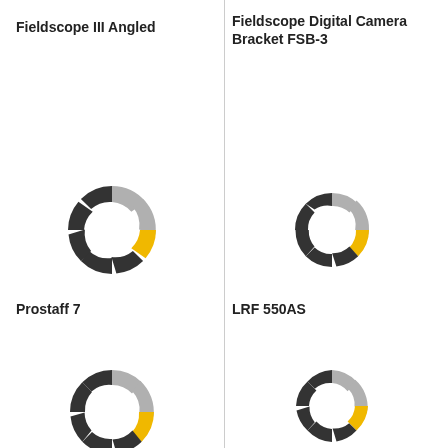Fieldscope III Angled
[Figure (infographic): Segmented donut/ring chart icon with dark grey, light grey, and one yellow segment, representing product rating or feature coverage for Fieldscope III Angled]
Fieldscope Digital Camera Bracket FSB-3
[Figure (infographic): Segmented donut/ring chart icon with dark grey, light grey, and one yellow segment, representing product rating or feature coverage for Fieldscope Digital Camera Bracket FSB-3]
Prostaff 7
[Figure (infographic): Segmented donut/ring chart icon with dark grey, light grey, and one yellow segment, representing product rating or feature coverage for Prostaff 7]
LRF 550AS
[Figure (infographic): Segmented donut/ring chart icon with dark grey, light grey, and one yellow segment, representing product rating or feature coverage for LRF 550AS]